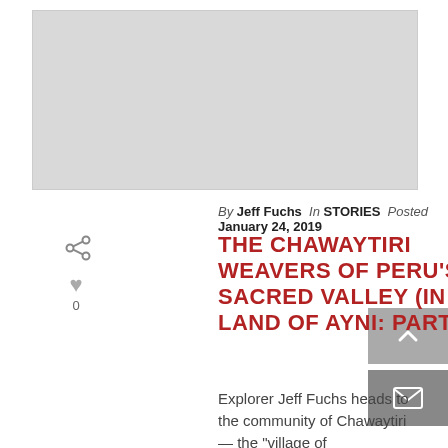[Figure (photo): Large grey placeholder image at top of article page]
By Jeff Fuchs In STORIES Posted January 24, 2019
THE CHAWAYTIRI WEAVERS OF PERU'S SACRED VALLEY (IN THE LAND OF AYNI: PART 2)
Explorer Jeff Fuchs heads to the community of Chawaytiri — the "village of